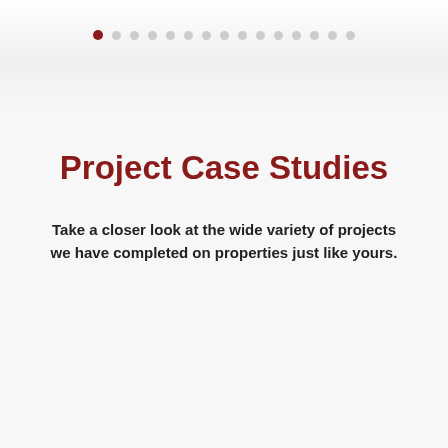[Figure (other): Pagination indicator dots — one dark red active dot followed by 14 grey inactive dots, arranged horizontally near the top of the page]
Project Case Studies
Take a closer look at the wide variety of projects we have completed on properties just like yours.